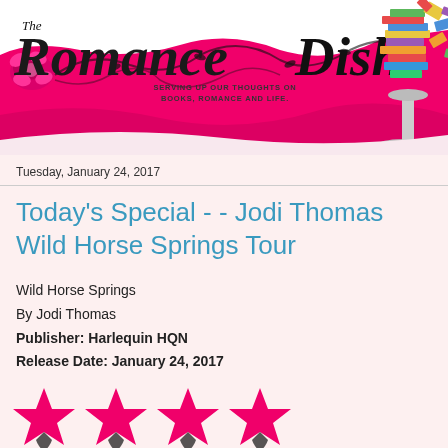[Figure (logo): The Romance Dish blog header banner with pink and black decorative design, script logo text, tagline 'Serving up our thoughts on books, romance and life.' and a decorative book tower illustration on the right.]
Tuesday, January 24, 2017
Today's Special - - Jodi Thomas Wild Horse Springs Tour
Wild Horse Springs
By Jodi Thomas
Publisher: Harlequin HQN
Release Date: January 24, 2017
[Figure (illustration): Four pink star rating icons in a row, indicating a 4-star review rating.]